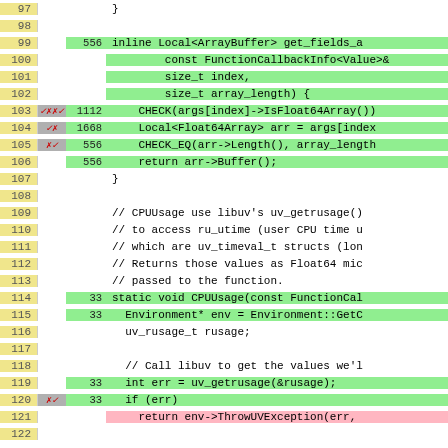[Figure (screenshot): Code coverage viewer showing C++ source lines 97-122 with line numbers, hit counts, coverage markers, and color-coded background (green for covered, pink for uncovered, white for non-executable).]